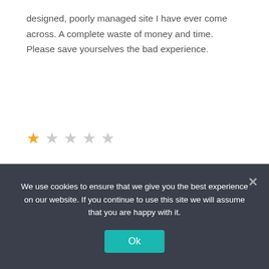designed, poorly managed site I have ever come across. A complete waste of money and time. Please save yourselves the bad experience.
[Figure (other): Star rating: 1 out of 5 stars (one filled gold star, four empty gray stars)]
ebonyivoryinter0iors - February 16, 2021
This is a waste of your time.
The same profiles just get recycled and presented to you later on, even if you are not interested in them, and have
We use cookies to ensure that we give you the best experience on our website. If you continue to use this site we will assume that you are happy with it.
Ok